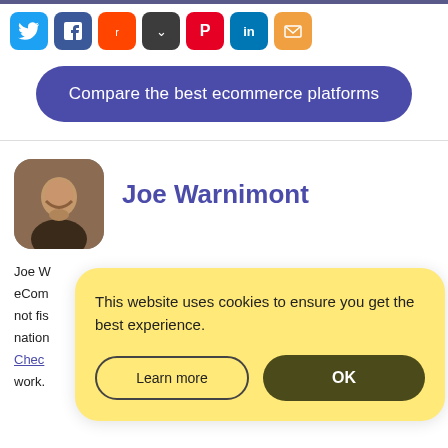[Figure (other): Row of social media sharing icon buttons: Twitter (blue), Facebook (dark blue), Reddit (orange), Pocket (dark), Pinterest (red), LinkedIn (blue), Email (orange)]
Compare the best ecommerce platforms
[Figure (photo): Author profile photo of Joe Warnimont — man with beard smiling, rounded square frame]
Joe Warnimont
Joe W... es on eCom... en not fis... at nation... ). Chec... st work.
This website uses cookies to ensure you get the best experience.